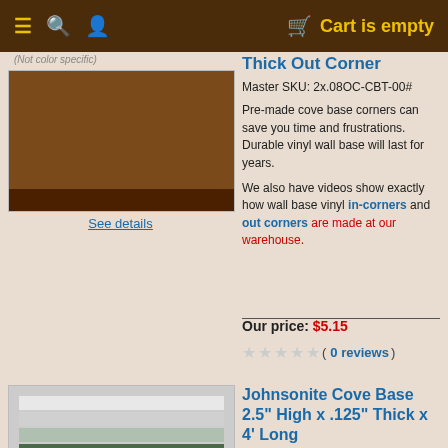☰ 🔍 👤  🛒 Cart is empty
(Not color specific)
[Figure (photo): Brown vinyl cove base out corner piece]
See details
Thick Out Corner
Master SKU: 2x.08OC-CBT-00#
Pre-made cove base corners can save you time and frustrations. Durable vinyl wall base will last for years.
We also have videos show exactly how wall base vinyl in-corners and out corners are made at our warehouse.
Our price: $5.15
( 0 reviews )
[Figure (photo): Stack of Johnsonite cove base vinyl strips in multiple colors]
See details
Johnsonite Cove Base 2.5" High x .125" Thick x 4' Long
Master SKU: 2x.125-CB-00#
Johnsonite Wall Base with no minimum order size and flat rate shipping makes this a great choice no matter how big your small your next project is going to be.